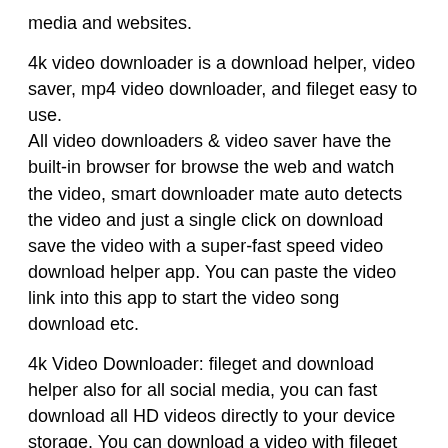media and websites.
4k video downloader is a download helper, video saver, mp4 video downloader, and fileget easy to use.
All video downloaders & video saver have the built-in browser for browse the web and watch the video, smart downloader mate auto detects the video and just a single click on download save the video with a super-fast speed video download helper app. You can paste the video link into this app to start the video song download etc.
4k Video Downloader: fileget and download helper also for all social media, you can fast download all HD videos directly to your device storage. You can download a video with fileget and 4k video downloader.
Strong Download Manager
This powerful video download mate manager can download videos multiple at one time like savefrom. You can download large files, download in the background, and resume failed